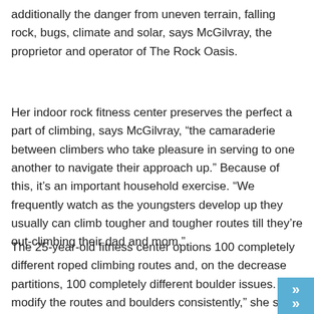additionally the danger from uneven terrain, falling rock, bugs, climate and solar, says McGilvray, the proprietor and operator of The Rock Oasis.
Her indoor rock fitness center preserves the perfect a part of climbing, says McGilvray, “the camaraderie between climbers who take pleasure in serving to one another to navigate their approach up.” Because of this, it’s an important household exercise. “We frequently watch as the youngsters develop up they usually can climb tougher and tougher routes till they’re out-climbing their dad and mom.”
The 25-year-old fitness center options 100 completely different roped climbing routes and, on the decrease partitions, 100 completely different boulder issues. “We modify the routes and boulders consistently,” she says…